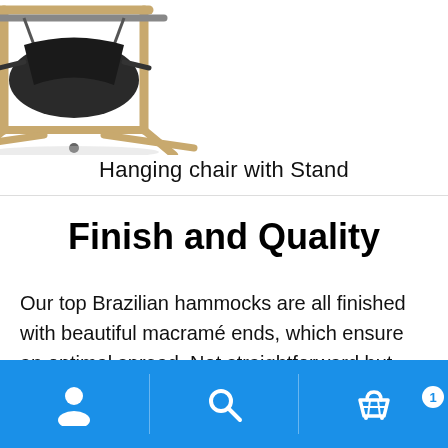[Figure (photo): Hanging chair with stand product photo on white background]
Hanging chair with Stand
Finish and Quality
Our top Brazilian hammocks are all finished with beautiful macramé ends, which ensure an optimal spread. Not straightforward but sophistication and refinement. For the real enthusiasts.
Navigation bar with user, search, and cart (1 item) icons